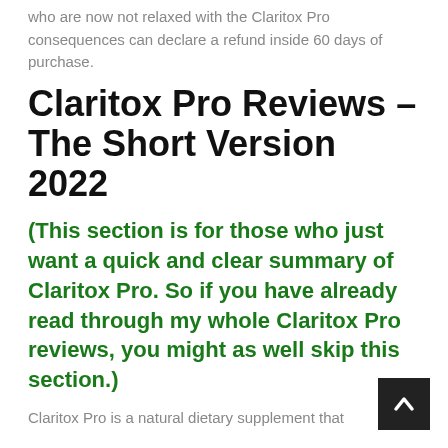who are now not relaxed with the Claritox Pro consequences can declare a refund inside 60 days of purchase.
Claritox Pro Reviews – The Short Version 2022
(This section is for those who just want a quick and clear summary of Claritox Pro. So if you have already read through my whole Claritox Pro reviews, you might as well skip this section.)
Claritox Pro is a natural dietary supplement that